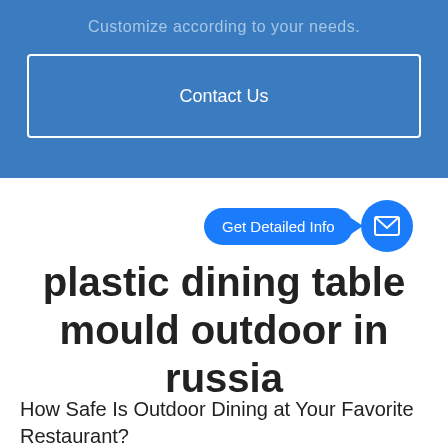Customize according to your needs.
Contact Us
[Figure (infographic): Blue chat bubble with text 'Get Detailed Info' and an arrow pointing to a blue circle containing a mail/envelope icon]
plastic dining table mould outdoor in russia
How Safe Is Outdoor Dining at Your Favorite Restaurant?
The world has been craving any